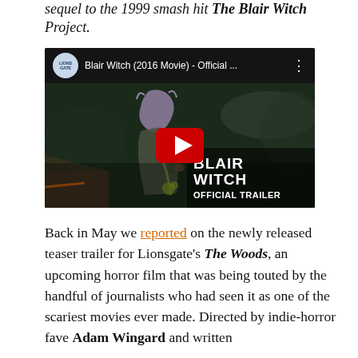sequel to the 1999 smash hit The Blair Witch Project.
[Figure (screenshot): Embedded YouTube video thumbnail for 'Blair Witch (2016 Movie) - Official ...' by Lionsgate channel. Shows a dark horror-themed thumbnail with a person with purple-grey hair holding something, overlaid with a YouTube play button. Bottom right shows 'BLAIR WITCH OFFICIAL TRAILER' text overlay.]
Back in May we reported on the newly released teaser trailer for Lionsgate's The Woods, an upcoming horror film that was being touted by the handful of journalists who had seen it as one of the scariest movies ever made. Directed by indie-horror fave Adam Wingard and written